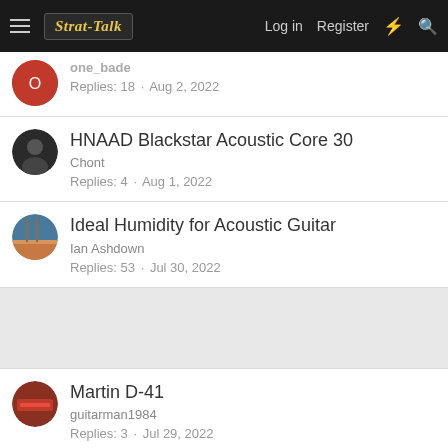Strat-Talk | Log in | Register
one_bade
Replies: 18 · Aug 2, 2022
HNAAD Blackstar Acoustic Core 30
Chont
Replies: 4 · Aug 1, 2022
Ideal Humidity for Acoustic Guitar
Ian Ashdown
Replies: 53 · Jul 30, 2022
Martin D-41
guitarman1984
Replies: 3 · Jul 29, 2022
"Keep Walkin", or Keep Squawking as the case may be.....